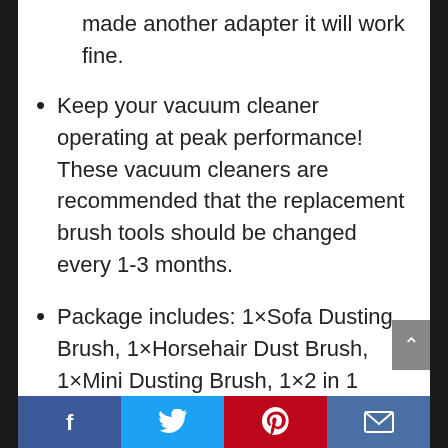made another adapter it will work fine.
Keep your vacuum cleaner operating at peak performance! These vacuum cleaners are recommended that the replacement brush tools should be changed every 1-3 months.
Package includes: 1×Sofa Dusting Brush, 1×Horsehair Dust Brush, 1×Mini Dusting Brush, 1×2 in 1 Crevice Tool, 1×Crevice Tool, 1 x Vacuum cleaner adapter
Facebook | Twitter | Pinterest | Email